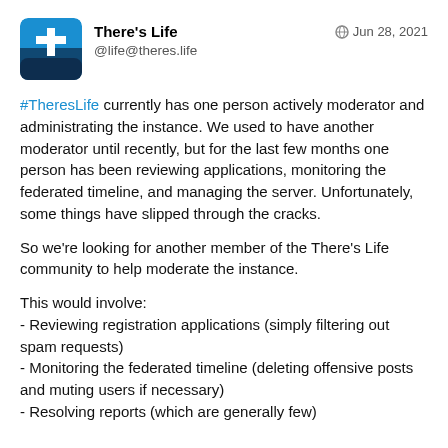There's Life @life@theres.life Jun 28, 2021
#TheresLife currently has one person actively moderator and administrating the instance. We used to have another moderator until recently, but for the last few months one person has been reviewing applications, monitoring the federated timeline, and managing the server. Unfortunately, some things have slipped through the cracks.
So we're looking for another member of the There's Life community to help moderate the instance.
This would involve:
- Reviewing registration applications (simply filtering out spam requests)
- Monitoring the federated timeline (deleting offensive posts and muting users if necessary)
- Resolving reports (which are generally few)